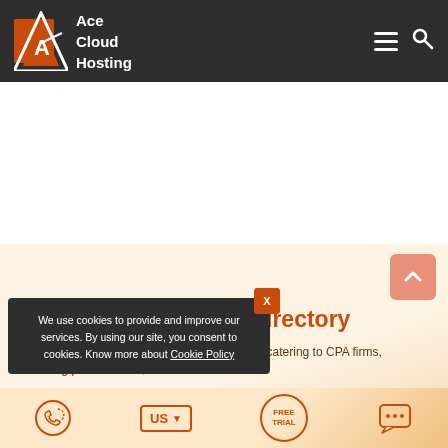Ace Cloud Hosting
[Figure (screenshot): Cookie consent popup overlay on Ace Cloud Hosting website]
Business Application Directory
We support hundreds of software applications – catering to CPA firms, accounting professionals, and SMBs.
Type keyword to find apps
US | FREE TRIAL | chat icons